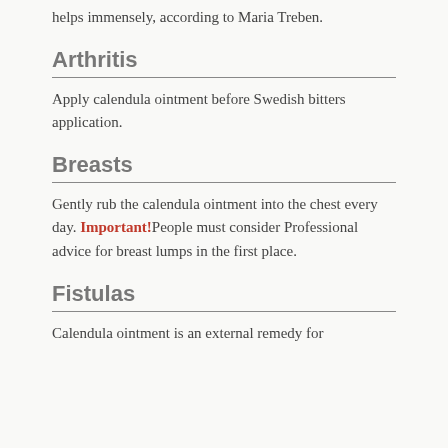helps immensely, according to Maria Treben.
Arthritis
Apply calendula ointment before Swedish bitters application.
Breasts
Gently rub the calendula ointment into the chest every day. Important!People must consider Professional advice for breast lumps in the first place.
Fistulas
Calendula ointment is an external remedy for